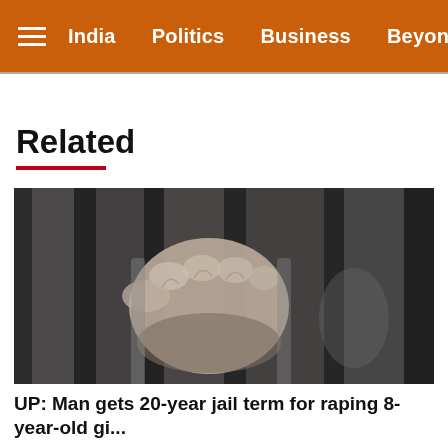India   Politics   Business   Beyond Metros
Related
[Figure (photo): Black and white close-up photograph of a hand gripping prison bars]
UP: Man gets 20-year jail term for raping 8-year-old gi...